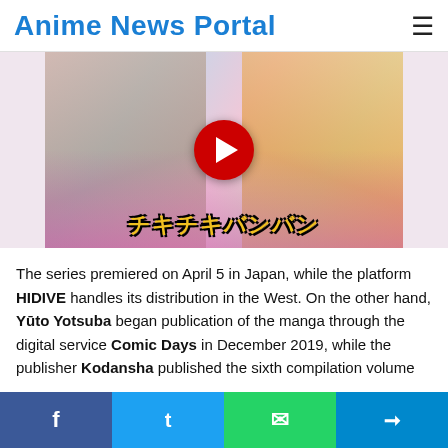Anime News Portal
[Figure (screenshot): YouTube video thumbnail for anime 'Chiki Chiki Banban' showing anime characters with a red YouTube play button overlay and Japanese manga title text at the bottom]
The series premiered on April 5 in Japan, while the platform HIDIVE handles its distribution in the West. On the other hand, Yūto Yotsuba began publication of the manga through the digital service Comic Days in December 2019, while the publisher Kodansha published the sixth compilation volume
f  t  WhatsApp  Telegram